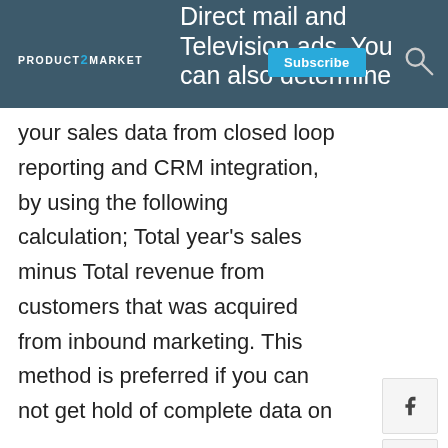Direct mail and Television ads. You can also determine
your sales data from closed loop reporting and CRM integration, by using the following calculation; Total year's sales minus Total revenue from customers that was acquired from inbound marketing. This method is preferred if you can not get hold of complete data on